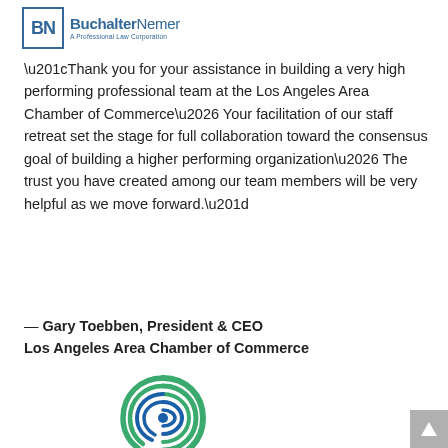[Figure (logo): Buchalter Nemer A Professional Law Corporation logo with BN initials in a box]
“Thank you for your assistance in building a very high performing professional team at the Los Angeles Area Chamber of Commerce… Your facilitation of our staff retreat set the stage for full collaboration toward the consensus goal of building a higher performing organization… The trust you have created among our team members will be very helpful as we move forward.”
— Gary Toebben, President & CEO
Los Angeles Area Chamber of Commerce
[Figure (logo): Los Angeles Area Chamber of Commerce circular swirl logo in blue and green with text Los Angeles Area Chamber of Commerce below]